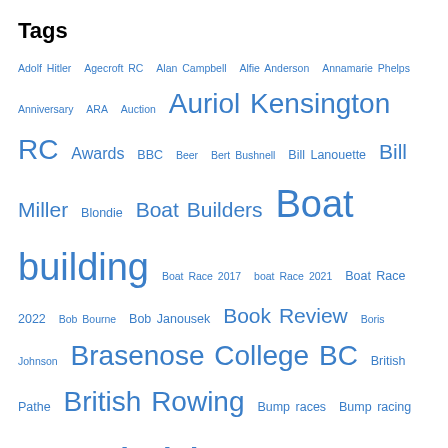Tags
Adolf Hitler Agecroft RC Alan Campbell Alfie Anderson Annamarie Phelps Anniversary ARA Auction Auriol Kensington RC Awards BBC Beer Bert Bushnell Bill Lanouette Bill Miller Blondie Boat Builders Boat building Boat Race 2017 boat Race 2021 Boat Race 2022 Bob Bourne Bob Janousek Book Review Boris Johnson Brasenose College BC British Pathe British Rowing Bump races Bump racing Cambridge Cambridge University Women's BC Chris Dodd Christ Church College Clive Radley Company of Watermen and Lightermen Cornell University Coronavirus Damir Martin Dan Boyne Daniel James Brown Daniel Spring Daniel Walker Dan Topolski Dickie Burnell Dogs Dorney Lake Dublin University BC Ed Waugh Eights Week Elizabeth II Emma Twigg Ergs Eric Murray Ernest Barry Eton European Championships European Rowing Championships ES